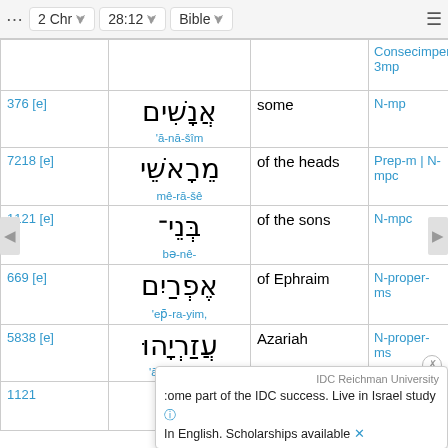2 Chr  28:12  Bible
| Strong's | Hebrew | English | Grammar |
| --- | --- | --- | --- |
|  | Consecimpen-3mp |  |  |
| 376 [e] | אֲנָשִׁים / 'ă-nā-šîm | some | N-mp |
| 7218 [e] | מֵרָאשֵׁי / mê-rā-šê | of the heads | Prep-m | N-mpc |
| 1121 [e] | בְּנֵי- / bə-nê- | of the sons | N-mpc |
| 669 [e] | אֶפְרַיִם, / 'ep̄-ra-yim, | of Ephraim | N-proper-ms |
| 5838 [e] | עֲזַרְיָהוּ / 'ă-zar-yā-hū | Azariah | N-proper-ms |
| 1121 |  |  |  |
IDC Reichman University. Some part of the IDC success. Live in Israel study In English. Scholarships available